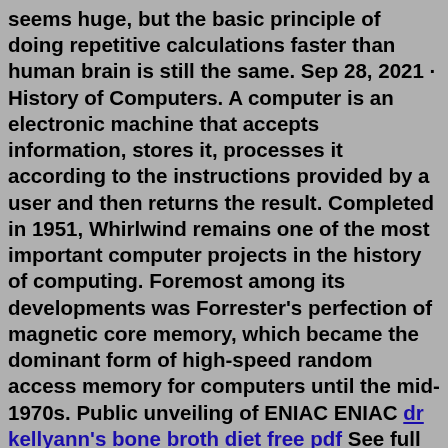seems huge, but the basic principle of doing repetitive calculations faster than human brain is still the same. Sep 28, 2021 · History of Computers. A computer is an electronic machine that accepts information, stores it, processes it according to the instructions provided by a user and then returns the result. Completed in 1951, Whirlwind remains one of the most important computer projects in the history of computing. Foremost among its developments was Forrester's perfection of magnetic core memory, which became the dominant form of high-speed random access memory for computers until the mid-1970s. Public unveiling of ENIAC ENIAC dr kellyann's bone broth diet free pdf See full list on g2.com 1976 – The CRAY 1, the world's first electronic digital computer, was a 75MHz, 64-bit machine, the world's fastest processor at the time. That same year, the Apple computer was designed by Steve Wozniak and Steve Jobs. Apple was the first to incorporate a graphical user interface and a computer mouse. 1978 – The age of PCs (personal ...